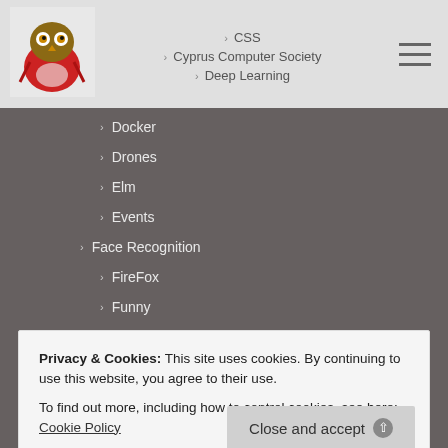[Figure (logo): Website logo: owl/bird illustration in red and brown tones]
› CSS
› Cyprus Computer Society
› Deep Learning
› Docker
› Drones
› Elm
› Events
› Face Recognition
› FireFox
› Funny
› GNU/Linux
› GnuPlot
› Google
› Hash Code
› HowTos
› JavaScript
Privacy & Cookies: This site uses cookies. By continuing to use this website, you agree to their use.
To find out more, including how to control cookies, see here: Cookie Policy
Close and accept